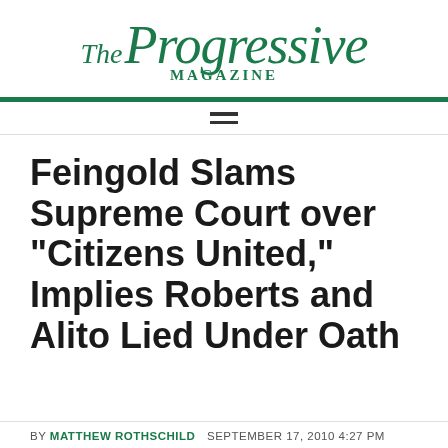[Figure (logo): The Progressive Magazine logo in teal/green color, with 'The' in italic, 'Progressive' in large italic serif, and 'MAGAZINE' in small caps below]
Feingold Slams Supreme Court over "Citizens United," Implies Roberts and Alito Lied Under Oath
BY MATTHEW ROTHSCHILD  SEPTEMBER 17, 2010 4:27 PM